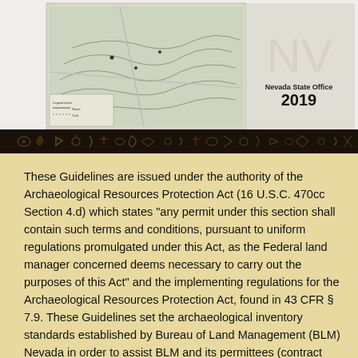[Figure (map): Cover image of a BLM Nevada State Office 2019 archaeological guidelines document. Shows a topographic map on the left half and 'Nevada State Office 2019' text on the right. A decorative dark banner with rock art petroglyphs runs along the bottom.]
These Guidelines are issued under the authority of the Archaeological Resources Protection Act (16 U.S.C. 470cc Section 4.d) which states "any permit under this section shall contain such terms and conditions, pursuant to uniform regulations promulgated under this Act, as the Federal land manager concerned deems necessary to carry out the purposes of this Act" and the implementing regulations for the Archaeological Resources Protection Act, found in 43 CFR § 7.9. These Guidelines set the archaeological inventory standards established by Bureau of Land Management (BLM) Nevada in order to assist BLM and its permittees (contract archaeologists) in complying with federal laws, regulations and policies on cultural resources